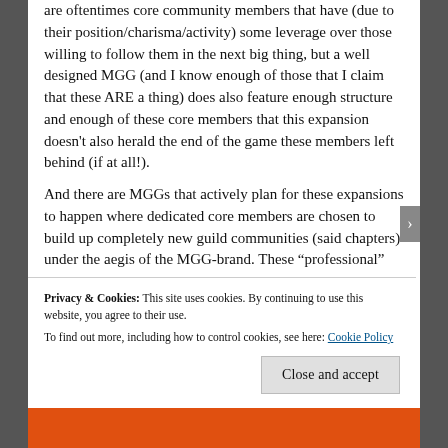are oftentimes core community members that have (due to their position/charisma/activity) some leverage over those willing to follow them in the next big thing, but a well designed MGG (and I know enough of those that I claim that these ARE a thing) does also feature enough structure and enough of these core members that this expansion doesn't also herald the end of the game these members left behind (if at all!).
And there are MGGs that actively plan for these expansions to happen where dedicated core members are chosen to build up completely new guild communities (said chapters) under the aegis of the MGG-brand. These "professional"
Privacy & Cookies: This site uses cookies. By continuing to use this website, you agree to their use.
To find out more, including how to control cookies, see here: Cookie Policy